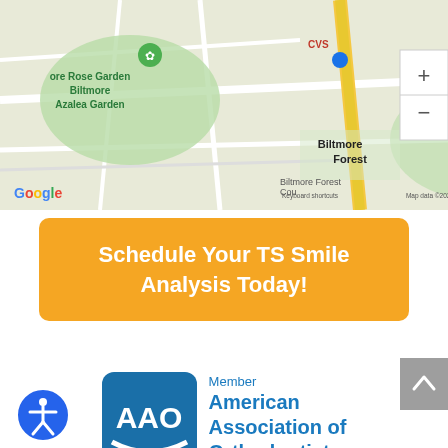[Figure (screenshot): Google Maps view showing Biltmore Forest area, with labels for Biltmore Rose Garden, Biltmore Azalea Garden, Biltmore Forest, CVS, zoom controls, Google logo, and map data credits.]
Schedule Your TS Smile Analysis Today!
[Figure (logo): AAO (American Association of Orthodontists) member logo with blue square icon and text 'Member American Association of Orthodontists']